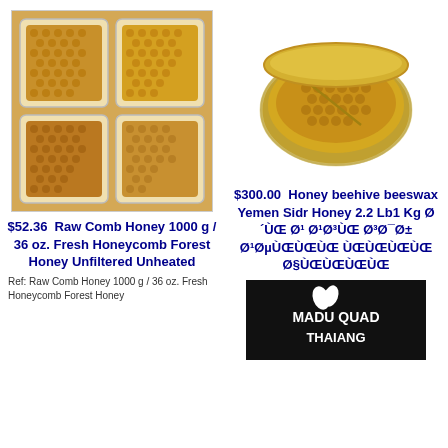[Figure (photo): Photo of four plastic containers filled with raw honeycomb sections]
$52.36  Raw Comb Honey 1000 g / 36 oz. Fresh Honeycomb Forest Honey Unfiltered Unheated
Ref: Raw Comb Honey 1000 g / 36 oz. Fresh Honeycomb Forest Honey
[Figure (photo): Photo of a round metal bowl containing a honeycomb section]
$300.00  Honey beehive beeswax Yemen Sidr Honey 2.2 Lb1 Kg Ø´ÙŒ Ø¹ Ø¹Ø³ÙŒ Ø³Ø¯Ø± Ø¹ØµÙŒÙŒÙŒ ÙŒÙŒÙŒÙŒ Ø§ÙŒÙŒÙŒÙŒ
[Figure (photo): Dark background product image with text MADU QUAD THALANG in white]